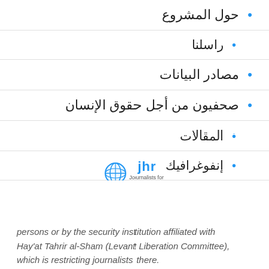حول المشروع
راسلنا
مصادر البيانات
صحفيون من أجل حقوق الإنسان
المقالات
إنفوغرافيك
فيديوهات
الرئيسة
[Figure (logo): JHR (Journalists for Human Rights) logo with globe icon and Arabic Syrian Data (بيانات سورية) logo below]
persons or by the security institution affiliated with Hay'at Tahrir al-Sham (Levant Liberation Committee), which is restricting journalists there.